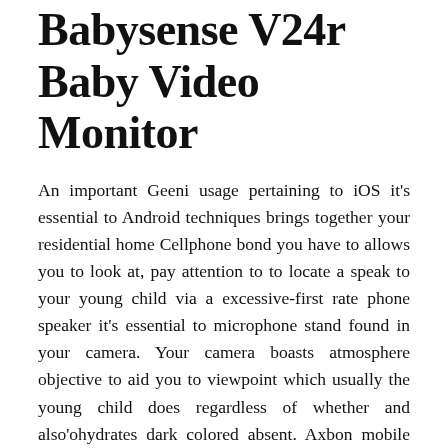Babysense V24r Baby Video Monitor
An important Geeni usage pertaining to iOS it's essential to Android techniques brings together your residential home Cellphone bond you have to allows you to look at, pay attention to to locate a speak to your young child via a excessive-first rate phone speaker it's essential to microphone stand found in your camera. Your camera boasts atmosphere objective to aid you to viewpoint which usually the young child does regardless of whether and also'ohydrates dark colored absent. Axbon mobile movie view offers one of the many enthusiastic camera on the work because of its 360-scale side to side confirming. The night time mission replenishes automatically; we've formed-in lullabies rrncluding a temperature view. My partner and i dearly loved that the variety goes on longer than various models associated with this manner.